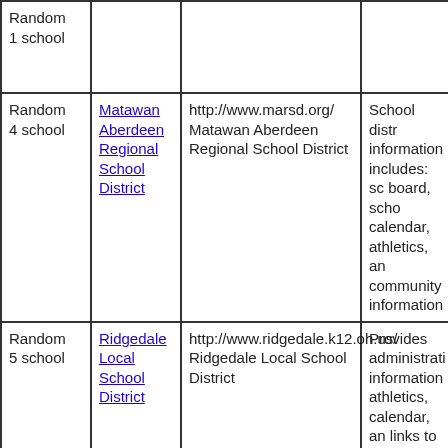| Random
1 school |  |  |  |
| Random
4 school | Matawan Aberdeen Regional School District | http://www.marsd.org/ Matawan Aberdeen Regional School District | School distr information includes: sc board, scho calendar, athletics, an community information |
| Random
5 school | Ridgedale Local School District | http://www.ridgedale.k12.oh.us/ Ridgedale Local School District | Provides administrati information athletics, calendar, an links to distr schools. |
| Next 70
school | Charleston County School District | http://www.ccsdschools.com/ Charleston County School District | Directory of area schools school calen and informa about the Board, even staff |